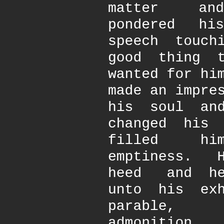matter and pondered his speech touching the good thing that God wanted for him, and it made an impression in his soul and this changed his heart. It filled him with emptiness. He gave heed and hearkened unto his exhortation, parable, and admonition, and he knew that what he said was the truth, and that what is worshipped apart from God is vain. He was attentive and answered the truth and his certitude was sound.